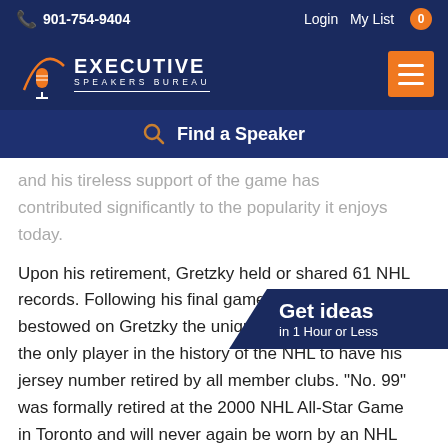901-754-9404   Login   My List 0
[Figure (logo): Executive Speakers Bureau logo with microphone icon and orange arc]
Find a Speaker
and his tireless support of the game has contributed significantly to the popularity it enjoys today.
Upon his retirement, Gretzky held or shared 61 NHL records. Following his final game, the [NHL] bestowed on Gretzky the unique distin[ction of being] the only player in the history of the NHL to have his jersey number retired by all member clubs. "No. 99" was formally retired at the 2000 NHL All-Star Game in Toronto and will never again be worn by an NHL player.
[Figure (infographic): Get ideas in 1 Hour or Less badge overlay on navy background with orange triangle accent]